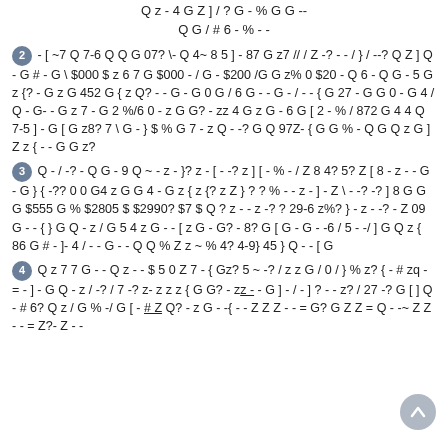Q z - 4 G Z ] / ? G - % G G -- Q G / # 6 - % - -
2 - [ ~7 Q 7-6 Q Q G 07? \- Q 4~ 8 5 ] - 87 G z7 // / Z -? - - / } / --? Q Z ] Q - G # - G \ $000 $ z 6 7 G $000 - / G - $200 /G G z% 0 $20 - Q 6 - Q G - 5 G z {? - G z G 452 G { z Q? - - G - G 0 G / 6 G - - G - / - - { G 27 - G G 0 - G 4 / Q - G- - G z 7 - G 2 %/6 0 - z G G? - zz 4 G z G - 6 G [ 2 - % / 872 G 4 4 Q 7-5 ] - G [ G z8? 7 \ G - } $ % G 7 - z Q - -? G Q 97Z- { G G % - Q G Q z G ] Z z { - - G G z?
3 Q - / -? - Q G - 9 Q ~ - z - }? z - [ - -? z ] [ - % - / Z 8 4? 5? Z [ 8 - z - - G - G } { -?? 0 0 G4 z G G 4 - G z { z {? z Z } ? ? % - - z - ] - Z \ - -? -? ] 8 G G G $555 G % $2805 $ $2990? $7 $ Q ? z - - z -? ? 29-6 z%? } - z - -? - Z 09 G - - { } G Q - z / G 5 4 z G - - [ z G - G? - 8? G [ G - G - -6 / 5 - -/ ] G Q z { 86 G # - ]- 4 / - - G - - Q Q % Z z ~ % 4? 4-9} 45 } Q - - [ G
4 Q z 7 7 G - - Q z - - $ 5 0 Z 7 - { Gz? 5 ~ -? / z z G / 0 / } % z? { - # zq - = - ] - G Q - z / -? / 7 -? z- z z z { G G? - z z - - G ] - / - ] ? - - z? / 27 -? G [ ] Q - # 6? Q z / G % -/ G [ - # Z Q? - z G - -{ - - Z Z Z - - = G? G Z Z = Q - -~ Z Z - - = Z?- Z - -